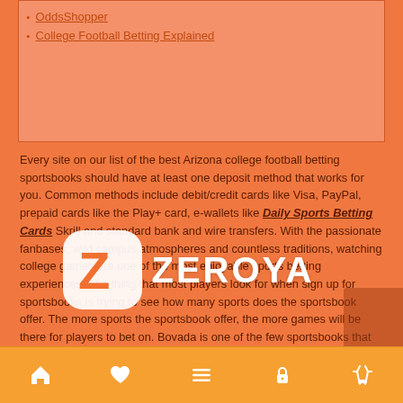OddsShopper
College Football Betting Explained
Every site on our list of the best Arizona college football betting sportsbooks should have at least one deposit method that works for you. Common methods include debit/credit cards like Visa, PayPal, prepaid cards like the Play+ card, e-wallets like Daily Sports Betting Cards Skrill and standard bank and wire transfers. With the passionate fanbases, wild campus atmospheres and countless traditions, watching college games are one of the most enjoyable sports betting experiences. The thing that most players look for when sign up for sportsbooks is trying to see how many sports does the sportsbook offer. The more sports the sportsbook offer, the more games will be there for players to bet on. Bovada is one of the few sportsbooks that have all sports that players look for and that includes college football.
[Figure (logo): Zeroya logo — white rounded square with Z lettermark beside ZEROYA text in white on orange background]
Betting Tip #5consider Home Underdogs Against...
Navigation bar with home, heart, menu, lock, and basket icons